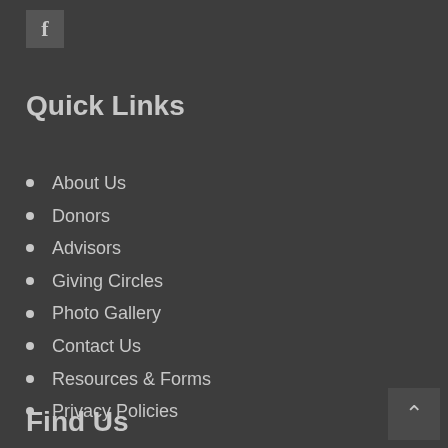[Figure (logo): Facebook logo icon on dark grey background]
Quick Links
About Us
Donors
Advisors
Giving Circles
Photo Gallery
Contact Us
Resources & Forms
Privacy Policies
Find Us